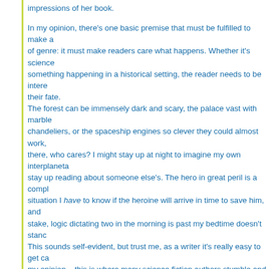impressions of her book.
In my opinion, there's one basic premise that must be fulfilled to make any work of genre: it must make readers care what happens. Whether it's science something happening in a historical setting, the reader needs to be interested in their fate. The forest can be immensely dark and scary, the palace vast with marble chandeliers, or the spaceship engines so clever they could almost work, but if there, who cares? I might stay up at night to imagine my own interplanetary stay up reading about someone else's. The hero in great peril is a compl situation I have to know if the heroine will arrive in time to save him, and stake, logic dictating two in the morning is past my bedtime doesn't stand. This sounds self-evident, but trust me, as a writer it's really easy to get ca my opinion – this is where many science fiction authors stumble and fall generally have a burning interest in science, the future, and space. If we something else. This interest poses both a trap and an opportunity. I know exactly what the spaceships in my books look like, I know what th space station is in relation to the hero's ship, and I have a general idea o worlds to work. Most of my readers couldn't care less. They want to know back home in spite of being abducted by a crazy murderer. Here's the thing though; whatever details about science and worlds make must be plausible. I'm not saying it has to be real or invented yet, but it m nothing in the book sounds like it could be real, no one will believe it, and without even knowing why they're bored. If it does seem real, it can be bo fascinating.